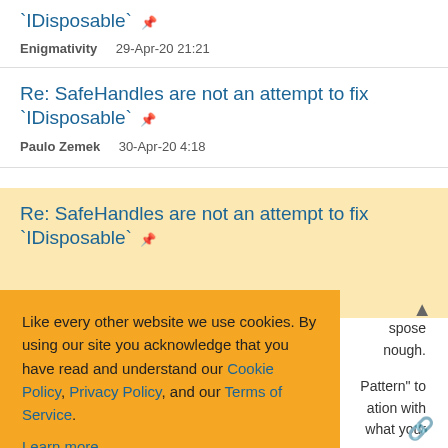`IDisposable` 📌
Enigmativity    29-Apr-20 21:21
Re: SafeHandles are not an attempt to fix `IDisposable` 📌
Paulo Zemek    30-Apr-20 4:18
Re: SafeHandles are not an attempt to fix `IDisposable` 📌
...spose ...nough. ...Pattern" to ...ation with ...what your
Like every other website we use cookies. By using our site you acknowledge that you have read and understand our Cookie Policy, Privacy Policy, and our Terms of Service.
Learn more
Ask me later | Decline | Allow cookies
Sign in · View Thread